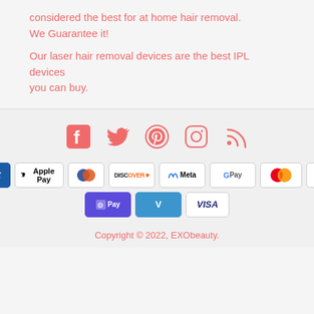considered the best for at home hair removal. We Guarantee it!
Our laser hair removal devices are the best IPL devices you can buy.
[Figure (infographic): Social media icons: Facebook, Twitter, Pinterest, Instagram, RSS feed icons in pink/salmon color]
[Figure (infographic): Payment method badges: American Express, Apple Pay, Diners Club, Discover, Meta Pay, Google Pay, Mastercard, PayPal, Shop Pay, Venmo, Visa]
Copyright © 2022, EXObeauty.